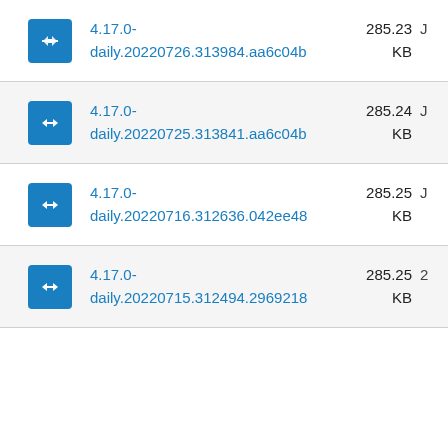4.17.0-daily.20220726.313984.aa6c04b  285.23 KB  J
4.17.0-daily.20220725.313841.aa6c04b  285.24 KB  J
4.17.0-daily.20220716.312636.042ee48  285.25 KB  J
4.17.0-daily.20220715.312494.2969218  285.25 KB  2